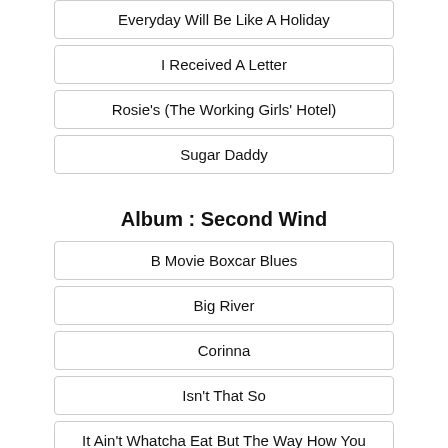Everyday Will Be Like A Holiday
I Received A Letter
Rosie's (The Working Girls' Hotel)
Sugar Daddy
Album : Second Wind
B Movie Boxcar Blues
Big River
Corinna
Isn't That So
It Ain't Whatcha Eat But The Way How You Chew It